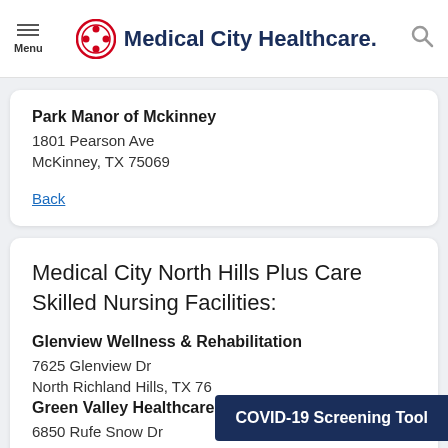Menu | Medical City Healthcare | Search
Park Manor of Mckinney
1801 Pearson Ave
McKinney, TX 75069
Back
Medical City North Hills Plus Care Skilled Nursing Facilities:
Glenview Wellness & Rehabilitation
7625 Glenview Dr
North Richland Hills, TX 76...
Green Valley Healthcare an...
6850 Rufe Snow Dr
COVID-19 Screening Tool